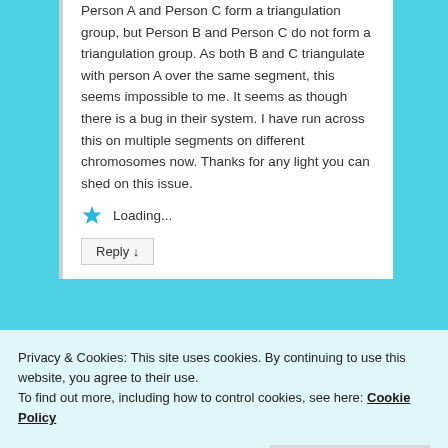Person A and Person C form a triangulation group, but Person B and Person C do not form a triangulation group. As both B and C triangulate with person A over the same segment, this seems impossible to me. It seems as though there is a bug in their system. I have run across this on multiple segments on different chromosomes now. Thanks for any light you can shed on this issue.
Loading...
Reply ↓
Privacy & Cookies: This site uses cookies. By continuing to use this website, you agree to their use.
To find out more, including how to control cookies, see here: Cookie Policy
Close and accept